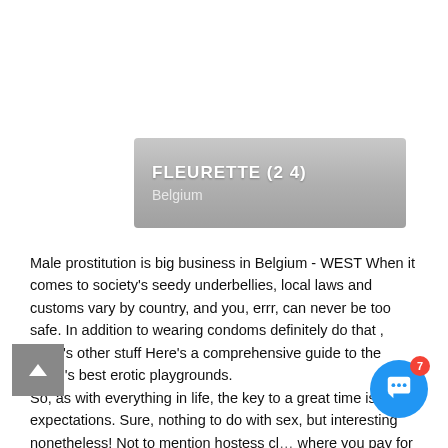[Figure (other): Banner with name FLEURETTE (24) and location Belgium on a grey gradient background]
Male prostitution is big business in Belgium - WEST When it comes to society's seedy underbellies, local laws and customs vary by country, and you, errr, can never be too safe. In addition to wearing condoms definitely do that , there's other stuff Here's a comprehensive guide to the world's best erotic playgrounds.
So, as with everything in life, the key to a great time is low expectations. Sure, nothing to do with sex, but interesting nonetheless! Not to mention hostess cl... where you pay for companionship.